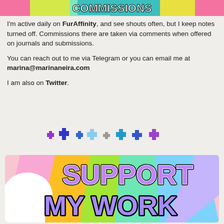[Figure (illustration): Colorful rainbow stripe banner at the top with pink, yellow, green, cyan, and purple stripes]
I'm active daily on FurAffinity, and see shouts often, but I keep notes turned off. Commissions there are taken via comments when offered on journals and submissions.
You can reach out to me via Telegram or you can email me at marina@marinaneira.com
I am also on Twitter.
[Figure (illustration): A row of colorful pixel cross/plus symbols in various colors: purple, dark blue, blue, light blue, gray, cyan-blue, blue, purple]
[Figure (illustration): Colorful banner with rainbow gradient background and white cloud shape on left, with large bubble-letter text reading SUPPORT MY WORK in multicolored letters with black outline]